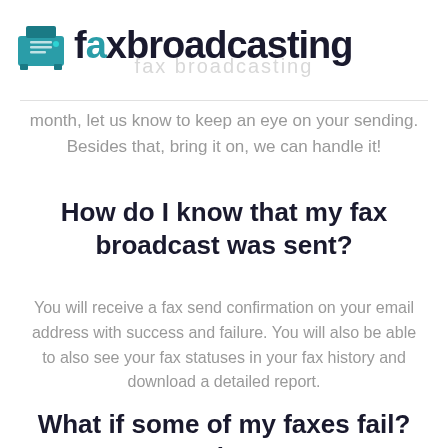[Figure (logo): FaxBroadcasting logo with a teal fax machine icon and bold dark text reading 'faxbroadcasting']
month, let us know to keep an eye on your sending. Besides that, bring it on, we can handle it!
How do I know that my fax broadcast was sent?
You will receive a fax send confirmation on your email address with success and failure. You will also be able to also see your fax statuses in your fax history and download a detailed report.
What if some of my faxes fail? What